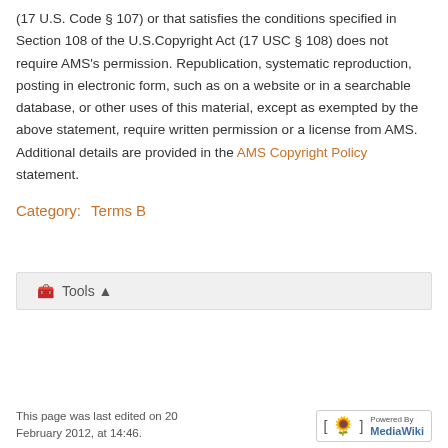(17 U.S. Code § 107) or that satisfies the conditions specified in Section 108 of the U.S.Copyright Act (17 USC § 108) does not require AMS's permission. Republication, systematic reproduction, posting in electronic form, such as on a website or in a searchable database, or other uses of this material, except as exempted by the above statement, require written permission or a license from AMS. Additional details are provided in the AMS Copyright Policy statement.
Category:   Terms B
[Figure (other): Tools button bar with briefcase icon]
This page was last edited on 20 February 2012, at 14:46.